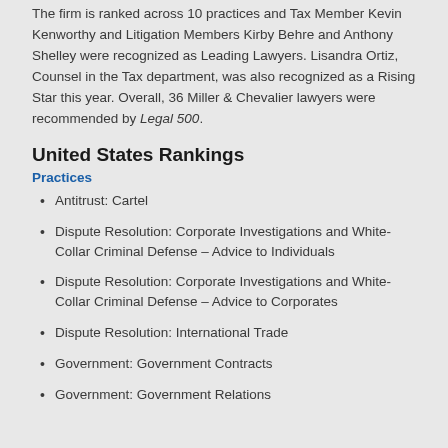The firm is ranked across 10 practices and Tax Member Kevin Kenworthy and Litigation Members Kirby Behre and Anthony Shelley were recognized as Leading Lawyers. Lisandra Ortiz, Counsel in the Tax department, was also recognized as a Rising Star this year. Overall, 36 Miller & Chevalier lawyers were recommended by Legal 500.
United States Rankings
Practices
Antitrust: Cartel
Dispute Resolution: Corporate Investigations and White-Collar Criminal Defense – Advice to Individuals
Dispute Resolution: Corporate Investigations and White-Collar Criminal Defense – Advice to Corporates
Dispute Resolution: International Trade
Government: Government Contracts
Government: Government Relations